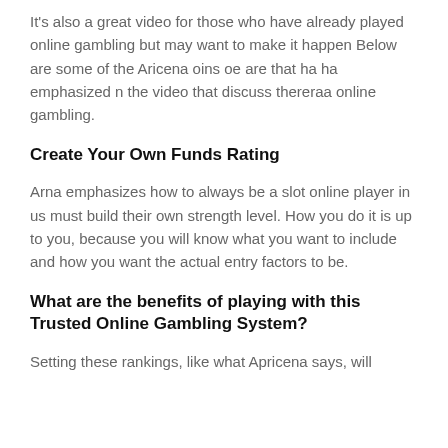It's also a great video for those who have already played online gambling but may want to make it happen Below are some of the Aricena oins oe are that ha ha emphasized n the video that discuss thereraa online gambling.
Create Your Own Funds Rating
Arna emphasizes how to always be a slot online player in us must build their own strength level. How you do it is up to you, because you will know what you want to include and how you want the actual entry factors to be.
What are the benefits of playing with this Trusted Online Gambling System?
Setting these rankings, like what Apricena says, will